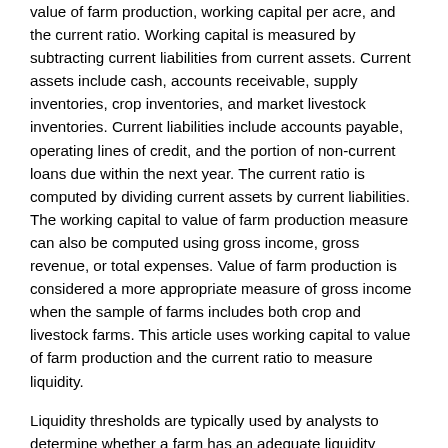value of farm production, working capital per acre, and the current ratio. Working capital is measured by subtracting current liabilities from current assets. Current assets include cash, accounts receivable, supply inventories, crop inventories, and market livestock inventories. Current liabilities include accounts payable, operating lines of credit, and the portion of non-current loans due within the next year. The current ratio is computed by dividing current assets by current liabilities. The working capital to value of farm production measure can also be computed using gross income, gross revenue, or total expenses. Value of farm production is considered a more appropriate measure of gross income when the sample of farms includes both crop and livestock farms. This article uses working capital to value of farm production and the current ratio to measure liquidity.
Liquidity thresholds are typically used by analysts to determine whether a farm has an adequate liquidity position. The two thresholds examined for the working capital to value of farm production were 0.20 and 0.35. The second threshold (0.35) is a commonly used threshold by financial analysts and would be considered an adequate level of working capital to weather a one or two year downturn. The first threshold (i.e., 0.20) depicts a situation where a farm may have trouble repaying loans. As with